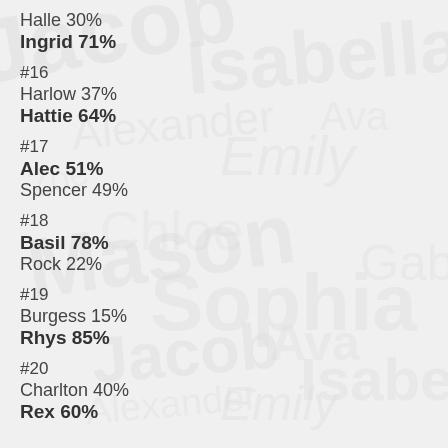Halle 30%
Ingrid 71%
#16
Harlow 37%
Hattie 64%
#17
Alec 51%
Spencer 49%
#18
Basil 78%
Rock 22%
#19
Burgess 15%
Rhys 85%
#20
Charlton 40%
Rex 60%